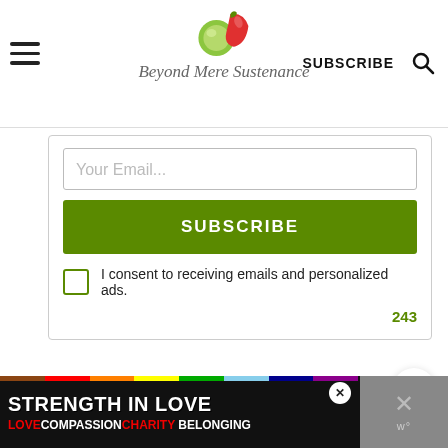Beyond Mere Sustenance — SUBSCRIBE
[Figure (screenshot): Email subscription form with input field, green SUBSCRIBE button, and consent checkbox]
Your Email...
SUBSCRIBE
I consent to receiving emails and personalized ads.
243
[Figure (infographic): Floating heart/like buttons and share button with 3.9K count]
[Figure (infographic): Advertisement banner: STRENGTH IN LOVE — LOVE COMPASSION CHARITY BELONGING with rainbow bar]
STRENGTH IN LOVE — LOVE COMPASSION CHARITY BELONGING